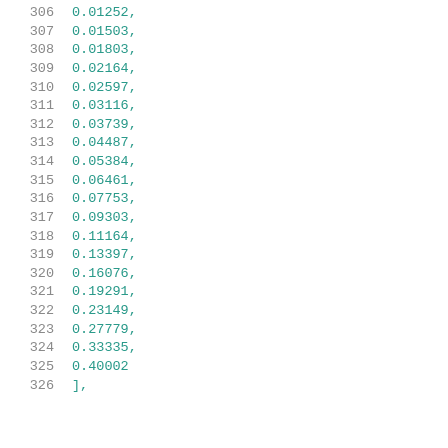306    0.01252,
307    0.01503,
308    0.01803,
309    0.02164,
310    0.02597,
311    0.03116,
312    0.03739,
313    0.04487,
314    0.05384,
315    0.06461,
316    0.07753,
317    0.09303,
318    0.11164,
319    0.13397,
320    0.16076,
321    0.19291,
322    0.23149,
323    0.27779,
324    0.33335,
325    0.40002
326    ],